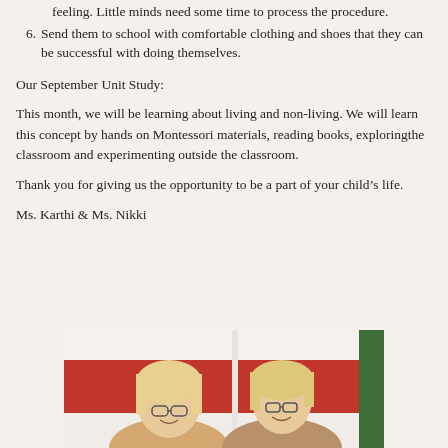feeling. Little minds need some time to process the procedure.
6. Send them to school with comfortable clothing and shoes that they can be successful with doing themselves.
Our September Unit Study:
This month, we will be learning about living and non-living. We will learn this concept by hands on Montessori materials, reading books, exploringthe classroom and experimenting outside the classroom.
Thank you for giving us the opportunity to be a part of your child’s life.
Ms. Karthi & Ms. Nikki
[Figure (photo): Two women (teachers) smiling at the camera, seated, with blonde hair, in a classroom setting with red chairs visible in the background.]